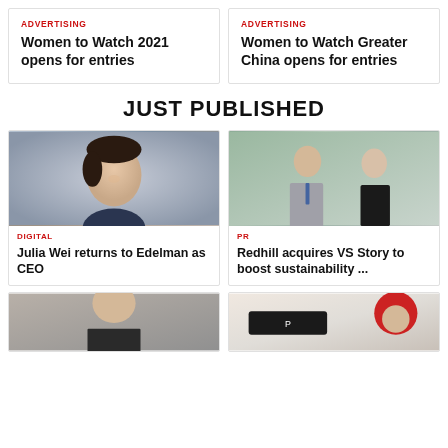ADVERTISING
Women to Watch 2021 opens for entries
ADVERTISING
Women to Watch Greater China opens for entries
JUST PUBLISHED
[Figure (photo): Headshot of Julia Wei, an Asian woman with dark hair pulled back, wearing a dark top against a light grey background]
DIGITAL
Julia Wei returns to Edelman as CEO
[Figure (photo): Two people standing together in an office setting: a man in a grey suit and a woman in black clothing]
PR
Redhill acquires VS Story to boost sustainability ...
[Figure (photo): Partial image of a person, bottom portion cut off]
[Figure (photo): Partial image showing a red-haired person and what appears to be a logo]